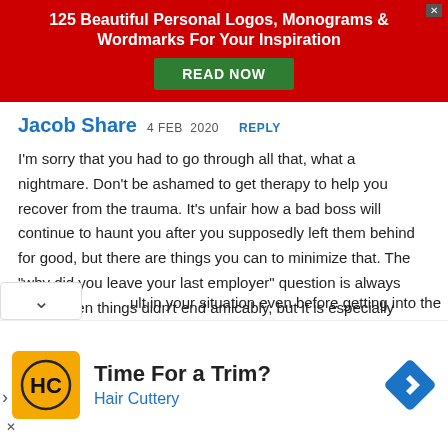[Figure (infographic): Red banner advertisement: '125 Beautiful Personal Logos, Monograms & Wordmarks For Your Inspiration' with a green 'READ NOW' button and a grey X close button in the top right corner.]
Jacob Share  4 FEB 2020   REPLY
I'm sorry that you had to go through all that, what a nightmare. Don't be ashamed to get therapy to help you recover from the trauma. It's unfair how a bad boss will continue to haunt you after you supposedly left them behind for good, but there are things you can to minimize that. The “why did you leave your last employer” question is always tricky when things didn’t end amicably, but it is especially [diffi]cult in your situation even before getting into the
[Figure (infographic): Bottom advertisement: Hair Cuttery ad with yellow/black HC logo, headline 'Time For a Trim?' and 'Hair Cuttery' in blue text, with a blue navigation/directions diamond icon on the right. Left side has a forward arrow and X close button.]